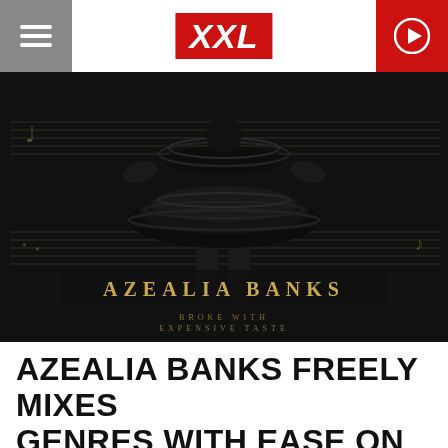XXL
[Figure (photo): Azealia Banks album cover art for 'Broke With Expensive Taste' — a figure in a black ruffled tutu dress seen from behind, against a dark background with sheet music motifs and gold text reading 'AZEALIA BANKS' and 'BROKE WITH EXPENSIVE TASTE']
AZEALIA BANKS FREELY MIXES GENRES WITH EASE ON 'BROKE